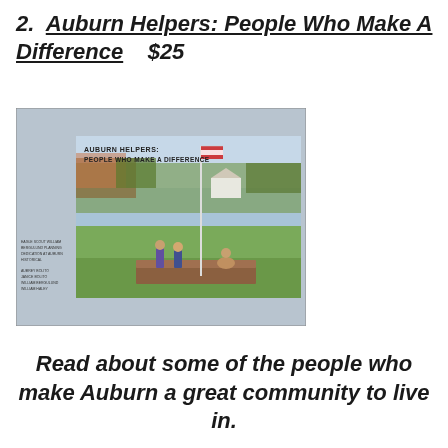2.  Auburn Helpers: People Who Make A Difference    $25
[Figure (photo): Book cover of 'Auburn Helpers: People Who Make A Difference' showing children near a flagpole on a grassy field with autumn trees in the background]
Read about some of the people who make Auburn a great community to live in.